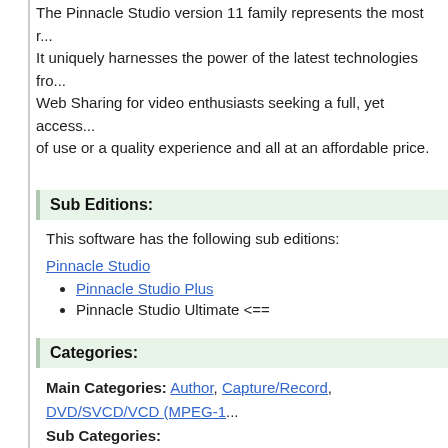The Pinnacle Studio version 11 family represents the most r... It uniquely harnesses the power of the latest technologies fro... Web Sharing for video enthusiasts seeking a full, yet access... of use or a quality experience and all at an affordable price.
Sub Editions:
This software has the following sub editions:
Pinnacle Studio
Pinnacle Studio Plus
Pinnacle Studio Ultimate <==
Categories:
Main Categories: Author, Capture/Record, DVD/SVCD/VCD (MPEG-1...
Sub Categories:
Authoring/Burning/Imaging -> DVD Authoring
Video Capture
Video Editors (and Cutters and Joiners) -> MPEG-2 (SVCD, DV...
Video Editors (and Cutters and Joiners) -> MPEG-4 (AVC/H.26...